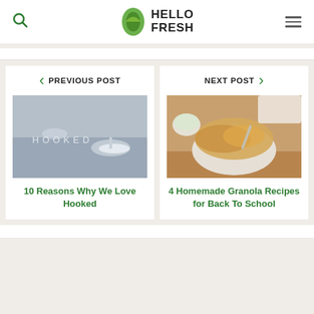HelloFresh
[Figure (screenshot): Previous post navigation card showing a foggy sea image with text 'HOOKED' and link title '10 Reasons Why We Love Hooked']
[Figure (screenshot): Next post navigation card showing a bowl of granola with a cup of tea and link title '4 Homemade Granola Recipes for Back To School']